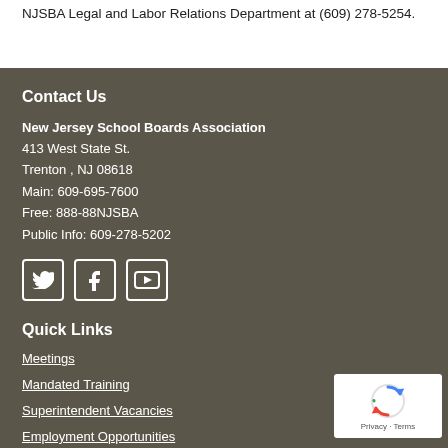NJSBA Legal and Labor Relations Department at (609) 278-5254.
Contact Us
New Jersey School Boards Association
413 West State St.
Trenton , NJ 08618
Main: 609-695-7600
Free: 888-88NJSBA
Public Info: 609-278-5202
[Figure (infographic): Social media icons: Twitter, Facebook, YouTube]
Quick Links
Meetings
Mandated Training
Superintendent Vacancies
Employment Opportunities
Public Records Information
[Figure (other): reCAPTCHA badge with Privacy - Terms text]